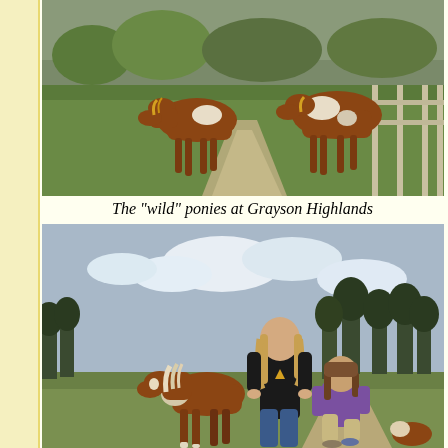[Figure (photo): Two brown and white ponies grazing on a green grassy hillside path with a wooden fence on the right side. The ponies are walking toward the camera on a dirt trail.]
The “wild” ponies at Grayson Highlands
[Figure (photo): Two girls posing with a small brown and white pony on a grassy highland meadow with evergreen trees in the background under a cloudy sky. One girl stands behind the pony wearing a black t-shirt and jeans; another girl crouches to the right wearing a purple shirt.]